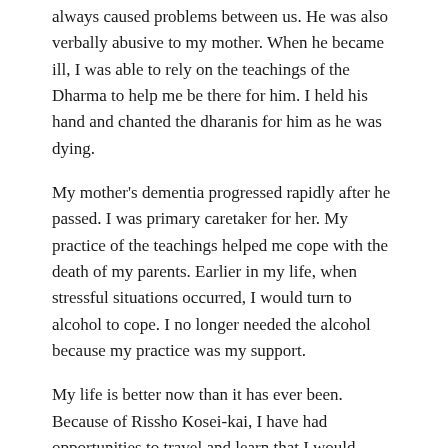always caused problems between us. He was also verbally abusive to my mother. When he became ill, I was able to rely on the teachings of the Dharma to help me be there for him. I held his hand and chanted the dharanis for him as he was dying.
My mother's dementia progressed rapidly after he passed. I was primary caretaker for her. My practice of the teachings helped me cope with the death of my parents. Earlier in my life, when stressful situations occurred, I would turn to alcohol to cope. I no longer needed the alcohol because my practice was my support.
My life is better now than it has ever been. Because of Rissho Kosei-kai, I have had opportunities to travel and learn that I would never have had any other way. My life is filled with overwhelming gratitude.